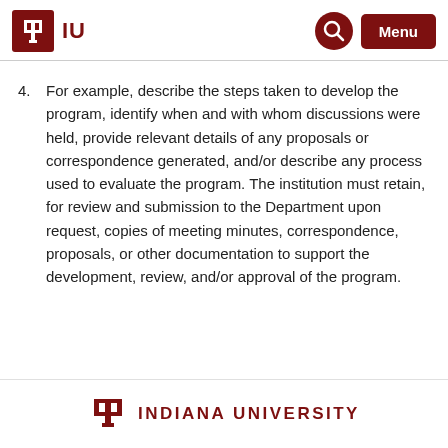IU | Indiana University — Menu
4. For example, describe the steps taken to develop the program, identify when and with whom discussions were held, provide relevant details of any proposals or correspondence generated, and/or describe any process used to evaluate the program. The institution must retain, for review and submission to the Department upon request, copies of meeting minutes, correspondence, proposals, or other documentation to support the development, review, and/or approval of the program.
Indiana University